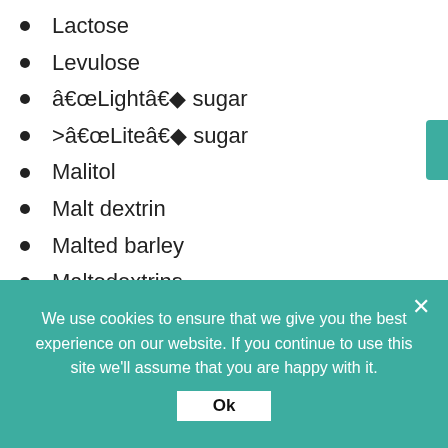Lactose
Levulose
â€œLightâ€� sugar
>â€œLiteâ€� sugar
Malitol
Malt dextrin
Malted barley
Maltodextrins
Maltodextrose
Maltose
Malts
Mannitol
Mannose
We use cookies to ensure that we give you the best experience on our website. If you continue to use this site we'll assume that you are happy with it.
Ok